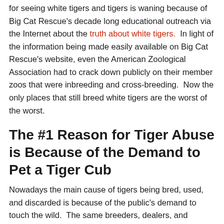for seeing white tigers and tigers is waning because of Big Cat Rescue's decade long educational outreach via the Internet about the truth about white tigers.  In light of the information being made easily available on Big Cat Rescue's website, even the American Zoological Association had to crack down publicly on their member zoos that were inbreeding and cross-breeding.  Now the only places that still breed white tigers are the worst of the worst.
The #1 Reason for Tiger Abuse is Because of the Demand to Pet a Tiger Cub
Nowadays the main cause of tigers being bred, used, and discarded is because of the public's demand to touch the wild.  The same breeders, dealers, and exploiters of tigers are churning out tiger cubs by the hundreds each year, under the guise of conservation, because it is easy to